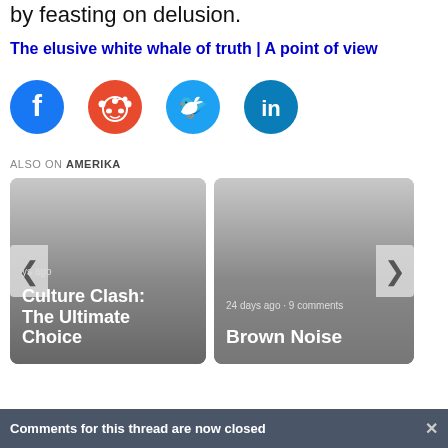by feasting on delusion.
The elusive white whale of truth | A point of view
[Figure (other): Social sharing icons: Facebook, Reddit, Twitter, LinkedIn]
ALSO ON AMERIKA
[Figure (other): Two article cards: 'Culture Clash: The Ultimate Choice' and '24 days ago · 9 comments Brown Noise', with left and right navigation arrows]
Comments for this thread are now closed